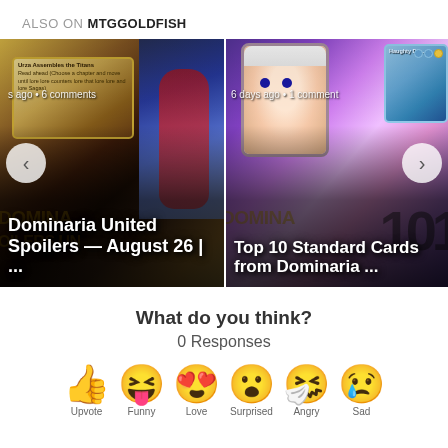ALSO ON MTGGOLDFISH
[Figure (screenshot): Carousel showing two MTGGoldfish article thumbnails. Left: 'Dominaria United Spoilers — August 26 | ...' with '6 comments' and card art. Right: 'Top 10 Standard Cards from Dominaria ...' with '6 days ago • 1 comment' and card art. Navigation arrows on left and right sides.]
What do you think?
0 Responses
[Figure (infographic): Row of six emoji reaction icons: thumbs up, laughing with tongue out, heart eyes, surprised face, sick/mask face, crying face. Labels partially cut off at bottom.]